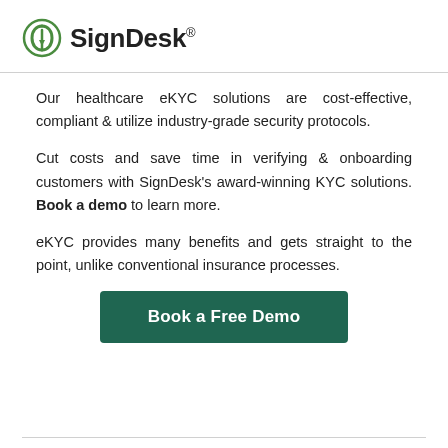SignDesk®
Our healthcare eKYC solutions are cost-effective, compliant & utilize industry-grade security protocols.
Cut costs and save time in verifying & onboarding customers with SignDesk's award-winning KYC solutions. Book a demo to learn more.
eKYC provides many benefits and gets straight to the point, unlike conventional insurance processes.
[Figure (other): Green button labeled 'Book a Free Demo']